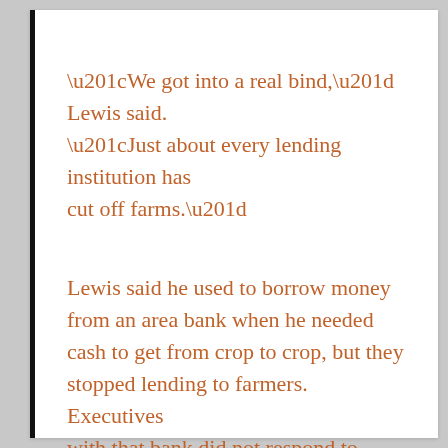“We got into a real bind,” Lewis said. “Just about every lending institution has cut off farms.”
Lewis said he used to borrow money from an area bank when he needed cash to get from crop to crop, but they stopped lending to farmers. Executives with that bank did not respond to WRAL News inquiries Tuesday.